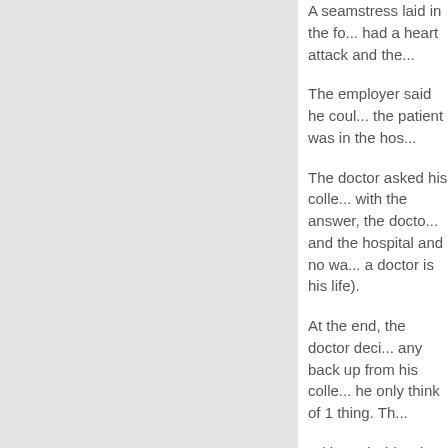A seamstress laid in the fo... had a heart attack and the...
The employer said he coul... the patient was in the hos...
The doctor asked his colle... with the answer, the docto... and the hospital and no wa... a doctor is his life).
At the end, the doctor deci... any back up from his colle... he only think of 1 thing. Th...
With God's blessing, the p... convince the hospital to no... and get well.
A few hours later, this story...
When I heard this, I told th... human being.
This young doctor name is...